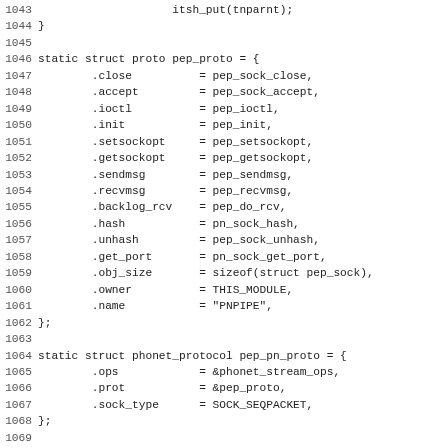Source code listing lines 1043-1075, C kernel code for pep protocol registration
1043: itsh_put(tnparnt);
1044: }
1045: (blank)
1046: static struct proto pep_proto = {
1047:         .close          = pep_sock_close,
1048:         .accept         = pep_sock_accept,
1049:         .ioctl          = pep_ioctl,
1050:         .init           = pep_init,
1051:         .setsockopt     = pep_setsockopt,
1052:         .getsockopt     = pep_getsockopt,
1053:         .sendmsg        = pep_sendmsg,
1054:         .recvmsg        = pep_recvmsg,
1055:         .backlog_rcv    = pep_do_rcv,
1056:         .hash           = pn_sock_hash,
1057:         .unhash         = pep_sock_unhash,
1058:         .get_port       = pn_sock_get_port,
1059:         .obj_size       = sizeof(struct pep_sock),
1060:         .owner          = THIS_MODULE,
1061:         .name           = "PNPIPE",
1062: };
1063: (blank)
1064: static struct phonet_protocol pep_pn_proto = {
1065:         .ops            = &phonet_stream_ops,
1066:         .prot           = &pep_proto,
1067:         .sock_type      = SOCK_SEQPACKET,
1068: };
1069: (blank)
1070: static int __init pep_register(void)
1071: {
1072:         return phonet_proto_register(PN_PROTO_PIPE, &pe
1073: }
1074: (blank)
1075: static void __exit pep_unregister(void)